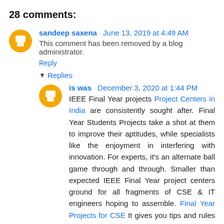28 comments:
sandeep saxena June 13, 2019 at 4:49 AM
This comment has been removed by a blog administrator.
Reply
▼ Replies
is was December 3, 2020 at 1:44 PM
IEEE Final Year projects Project Centers in India are consistently sought after. Final Year Students Projects take a shot at them to improve their aptitudes, while specialists like the enjoyment in interfering with innovation. For experts, it's an alternate ball game through and through. Smaller than expected IEEE Final Year project centers ground for all fragments of CSE & IT engineers hoping to assemble. Final Year Projects for CSE It gives you tips and rules that is progressively